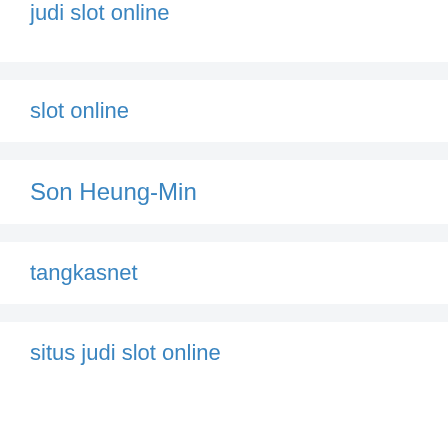judi slot online
slot online
Son Heung-Min
tangkasnet
situs judi slot online